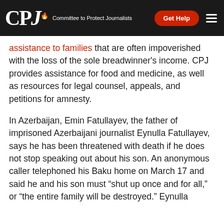CPJ — Committee to Protect Journalists | Get Help
assistance to families that are often impoverished with the loss of the sole breadwinner's income. CPJ provides assistance for food and medicine, as well as resources for legal counsel, appeals, and petitions for amnesty.
In Azerbaijan, Emin Fatullayev, the father of imprisoned Azerbaijani journalist Eynulla Fatullayev, says he has been threatened with death if he does not stop speaking out about his son. An anonymous caller telephoned his Baku home on March 17 and said he and his son must “shut up once and for all,” or “the entire family will be destroyed.” Eynulla